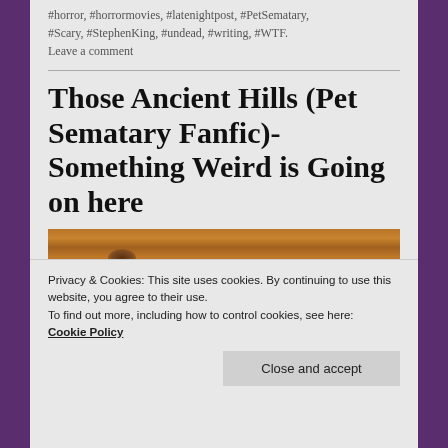#horror, #horrormovies, #latenightpost, #PetSematary, #Scary, #StephenKing, #undead, #writing, #WTF.
Leave a comment
Those Ancient Hills (Pet Sematary Fanfic)- Something Weird is Going on here
[Figure (photo): Close-up photo of a wooden surface with a visible wood knot]
Privacy & Cookies: This site uses cookies. By continuing to use this website, you agree to their use.
To find out more, including how to control cookies, see here:
Cookie Policy
Close and accept